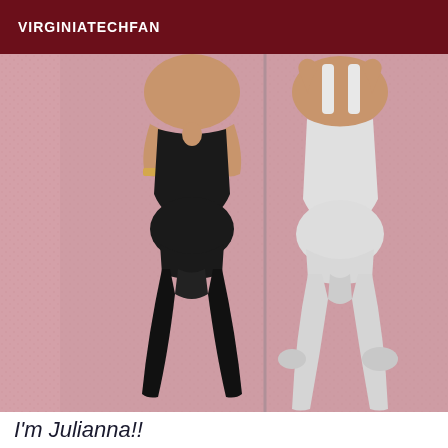VIRGINIATECHFAN
[Figure (photo): Side-by-side comparison of two people from behind wearing form-fitting bodysuits — one in black on the left, one in white on the right — against a pink textured background.]
I'm Julianna!!